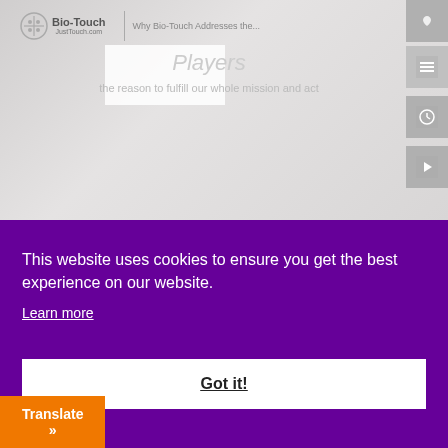[Figure (screenshot): Screenshot of Bio-Touch website (JustTouch.com) showing a partially visible webpage with a navigation bar, Bio-Touch logo, menu icon, clock icon, back arrow icon, and faded content showing 'Players' heading and subtitle text. The screenshot is overlaid with a cookie consent banner.]
This website uses cookies to ensure you get the best experience on our website.
Learn more
Got it!
Translate »